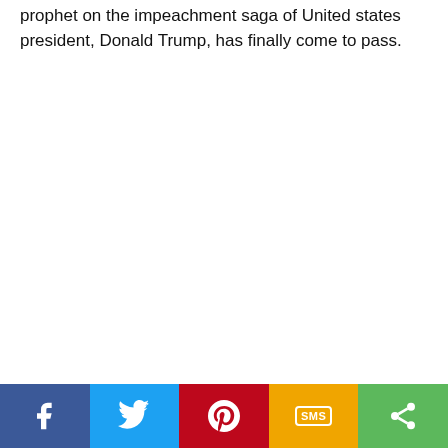prophet on the impeachment saga of United states president, Donald Trump, has finally come to pass.
[Figure (infographic): Social media share bar with five buttons: Facebook (blue), Twitter (light blue), Pinterest (red), SMS (yellow/gold), and Share (green). Each button has a white icon or label.]